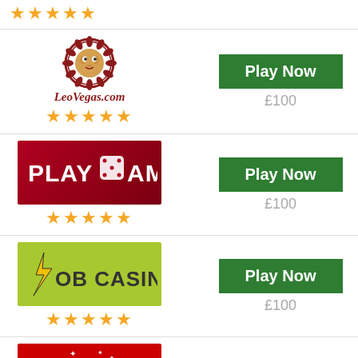[Figure (logo): Stars rating row at top (partial)]
[Figure (logo): LeoVegas.com casino logo with lion emblem and 5 orange stars]
Play Now
£100
[Figure (logo): PlayAmo casino logo on red background with 5 orange stars]
Play Now
£100
[Figure (logo): Bob Casino logo on lime green background with 5 orange stars]
Play Now
£100
[Figure (logo): Magic Red Casino logo on red background with 4 orange stars]
Play Now
£100